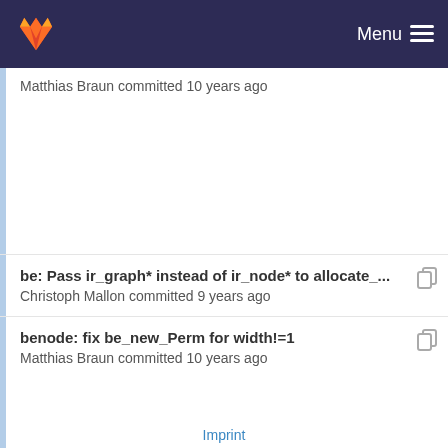Menu
Matthias Braun committed 10 years ago
be: Pass ir_graph* instead of ir_node* to allocate_...
Christoph Mallon committed 9 years ago
benode: fix be_new_Perm for width!=1
Matthias Braun committed 10 years ago
Several changes
Sebastian Hack committed 16 years ago
Adapted to new benode.c
Imprint